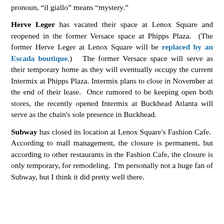pronoun, “il giallo” means “mystery.”
Herve Leger has vacated their space at Lenox Square and reopened in the former Versace space at Phipps Plaza. (The former Herve Leger at Lenox Square will be replaced by an Escada boutique.) The former Versace space will serve as their temporary home as they will eventually occupy the current Intermix at Phipps Plaza. Intermix plans to close in November at the end of their lease. Once rumored to be keeping open both stores, the recently opened Intermix at Buckhead Atlanta will serve as the chain's sole presence in Buckhead.
Subway has closed its location at Lenox Square's Fashion Cafe. According to mall management, the closure is permanent, but according to other restaurants in the Fashion Cafe, the closure is only temporary, for remodeling. I'm personally not a huge fan of Subway, but I think it did pretty well there.